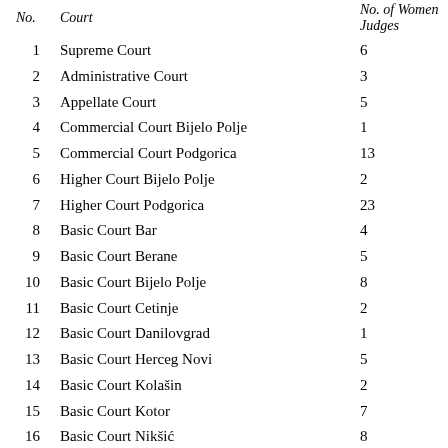| No. | Court | No. of Women Judges |
| --- | --- | --- |
| 1 | Supreme Court | 6 |
| 2 | Administrative Court | 3 |
| 3 | Appellate Court | 5 |
| 4 | Commercial Court Bijelo Polje | 1 |
| 5 | Commercial Court Podgorica | 13 |
| 6 | Higher Court Bijelo Polje | 2 |
| 7 | Higher Court Podgorica | 23 |
| 8 | Basic Court Bar | 4 |
| 9 | Basic Court Berane | 5 |
| 10 | Basic Court Bijelo Polje | 8 |
| 11 | Basic Court Cetinje | 2 |
| 12 | Basic Court Danilovgrad | 1 |
| 13 | Basic Court Herceg Novi | 5 |
| 14 | Basic Court Kolašin | 2 |
| 15 | Basic Court Kotor | 7 |
| 16 | Basic Court Nikšić | 8 |
| 17 | Basic Court Plav | 1 |
| 18 | Basic Court Pljevlja | 6 |
| 19 | Basic Court Podgorica | 23 |
| 20 | Basic Court Rožaje | 1 |
| 21 | Basic Court Ulcinj | 0 |